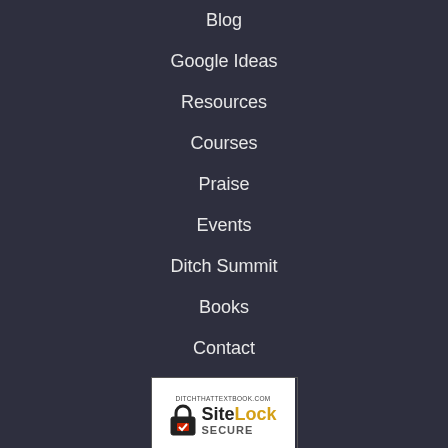Blog
Google Ideas
Resources
Courses
Praise
Events
Ditch Summit
Books
Contact
[Figure (logo): SiteLock SECURE badge from ditchthattextbook.com, Passed 04-Sep-2022]
Connect With DTT
[Figure (infographic): Social media icons row: Twitter, Facebook, Instagram, LinkedIn]